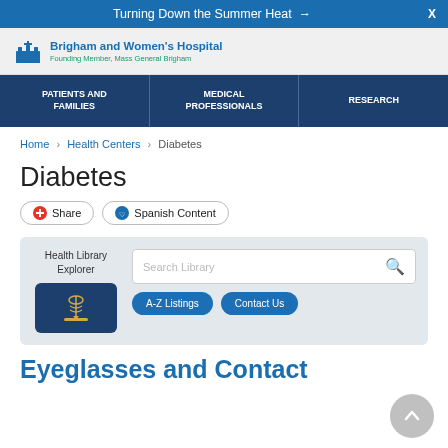Turning Down the Summer Heat →  X
[Figure (logo): Brigham and Women's Hospital logo with column icon, text: Brigham and Women's Hospital, Founding Member, Mass General Brigham]
PATIENTS AND FAMILIES | MEDICAL PROFESSIONALS | RESEARCH
Home › Health Centers › Diabetes
Diabetes
Share   Spanish Content
[Figure (screenshot): Health Library Explorer widget with search bar (Search Library), A-Z Listings button, and Contact Us button, with caduceus icon]
Eyeglasses and Contact